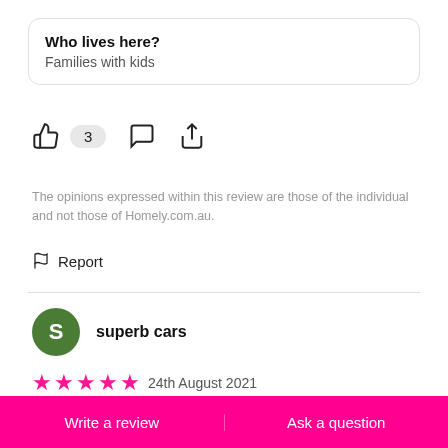Who lives here?
Families with kids
3
The opinions expressed within this review are those of the individual and not those of Homely.com.au.
Report
superb cars
24th August 2021
"Love the views"
Write a review
Ask a question